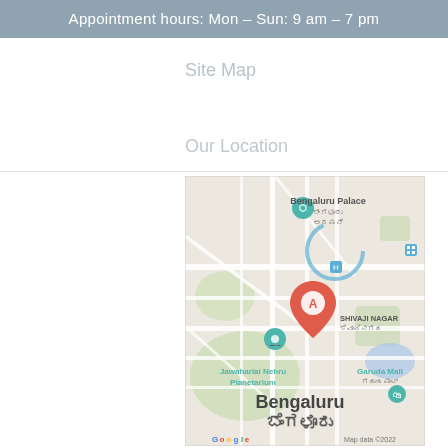Appointment hours: Mon – Sun: 9 am – 7 pm
Site Map
Our Location
[Figure (map): Google Map showing Bengaluru (ಬೆಂಗಳೂರು) area with marker A at Shivaji Nagar (ಶಿವಾಜಿನಗರ), showing landmarks: Bengaluru Palace (ಬೆಂಗಳೂರು ಅರಮನೆ), Jawaharlal Nehru Planetarium, Garuda Mall (ಗರುಡ ಮಾಲ್). Map data ©2022 Google.]